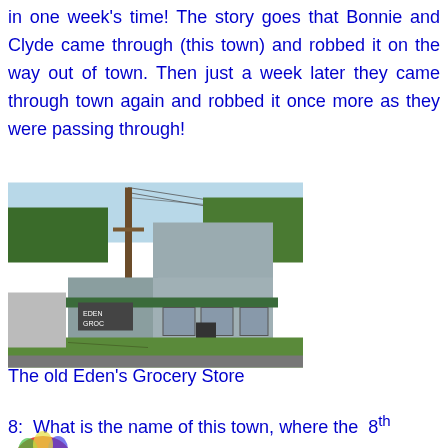in one week's time! The story goes that Bonnie and Clyde came through (this town) and robbed it on the way out of town. Then just a week later they came through town again and robbed it once more as they were passing through!
[Figure (photo): Exterior photograph of an old, weathered single-story building with a flat false front facade, green metal roof overhang, utility pole nearby, and green lawn in front. This is the old Eden's Grocery Store.]
The old Eden's Grocery Store
8:  What is the name of this town, where the  8th